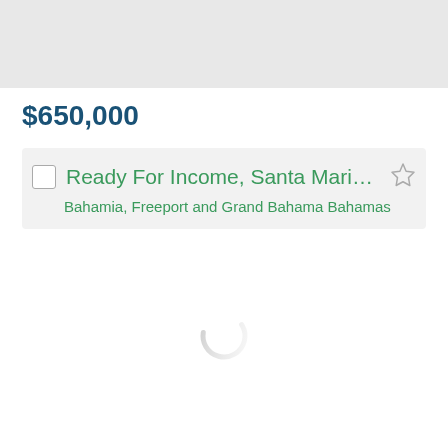[Figure (photo): Gray placeholder image at top of page]
$650,000
Ready For Income, Santa Maria … Bahamia, Freeport and Grand Bahama Bahamas
[Figure (other): Loading spinner / circular progress indicator]